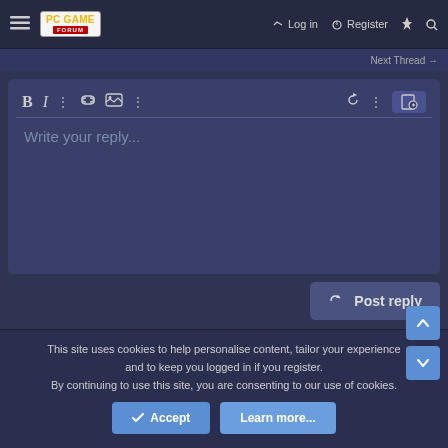PC GAME FORUM | Log in | Register
Next Thread
[Figure (screenshot): Forum reply editor with toolbar (Bold, Italic, dots, link, image, dots icons) and placeholder text 'Write your reply...' with Post reply button]
This site uses cookies to help personalise content, tailor your experience and to keep you logged in if you register. By continuing to use this site, you are consenting to our use of cookies.
Accept
Learn more...